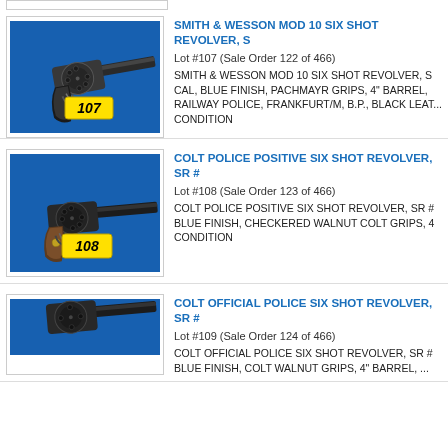[Figure (photo): Smith & Wesson revolver with yellow lot tag #107 on blue background]
SMITH & WESSON MOD 10 SIX SHOT REVOLVER, S...
Lot #107 (Sale Order 122 of 466)
SMITH & WESSON MOD 10 SIX SHOT REVOLVER, S... CAL, BLUE FINISH, PACHMAYR GRIPS, 4" BARREL, RAILWAY POLICE, FRANKFURT/M, B.P., BLACK LEAT... CONDITION
[Figure (photo): Colt Police Positive revolver with yellow lot tag #108 on blue background]
COLT POLICE POSITIVE SIX SHOT REVOLVER, SR #...
Lot #108 (Sale Order 123 of 466)
COLT POLICE POSITIVE SIX SHOT REVOLVER, SR #... BLUE FINISH, CHECKERED WALNUT COLT GRIPS, 4... CONDITION
[Figure (photo): Colt Official Police revolver with lot tag #109 on blue background, partially visible]
COLT OFFICIAL POLICE SIX SHOT REVOLVER, SR #...
Lot #109 (Sale Order 124 of 466)
COLT OFFICIAL POLICE SIX SHOT REVOLVER, SR #... BLUE FINISH, COLT WALNUT GRIPS, 4" BARREL, ...